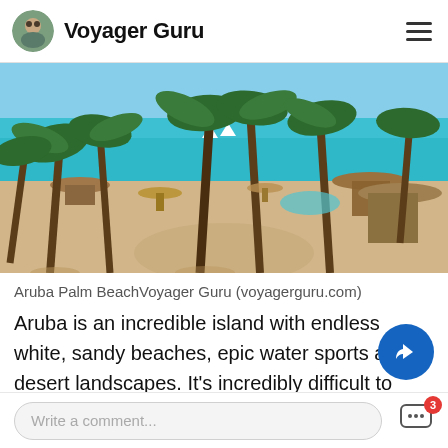Voyager Guru
[Figure (photo): Aerial view of Aruba Palm Beach with turquoise ocean, white sandy beach, palm trees blowing in wind, thatched-roof palapas and resort area]
Aruba Palm BeachVoyager Guru (voyagerguru.com)
Aruba is an incredible island with endless white, sandy beaches, epic water sports and desert landscapes. It's incredibly difficult to narrow the list to just the top 5 things to do in Aruba, but here
Write a comment...